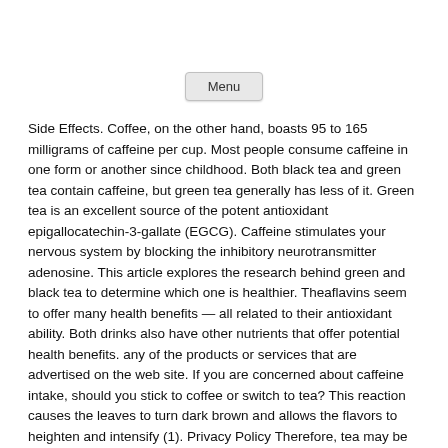[Figure (other): Menu button UI element]
Side Effects. Coffee, on the other hand, boasts 95 to 165 milligrams of caffeine per cup. Most people consume caffeine in one form or another since childhood. Both black tea and green tea contain caffeine, but green tea generally has less of it. Green tea is an excellent source of the potent antioxidant epigallocatechin-3-gallate (EGCG). Caffeine stimulates your nervous system by blocking the inhibitory neurotransmitter adenosine. This article explores the research behind green and black tea to determine which one is healthier. Theaflavins seem to offer many health benefits — all related to their antioxidant ability. Both drinks also have other nutrients that offer potential health benefits. any of the products or services that are advertised on the web site. If you are concerned about caffeine intake, should you stick to coffee or switch to tea? This reaction causes the leaves to turn dark brown and allows the flavors to heighten and intensify (1). Privacy Policy Therefore, tea may be best consumed between meals (39). According to the above review, caffeine consumption immediately before exercise reduces blood flow to the heart muscle. Green tea may have a slightly better antioxidant profile than black tea, but black tea is best if you want a powerful caffeine buzz. This review